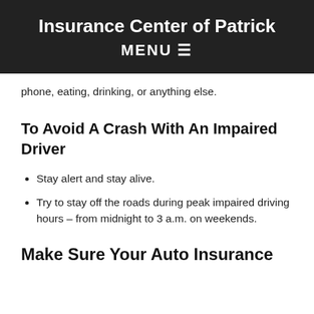Insurance Center of Patrick
MENU ☰
phone, eating, drinking, or anything else.
To Avoid A Crash With An Impaired Driver
Stay alert and stay alive.
Try to stay off the roads during peak impaired driving hours – from midnight to 3 a.m. on weekends.
Make Sure Your Auto Insurance